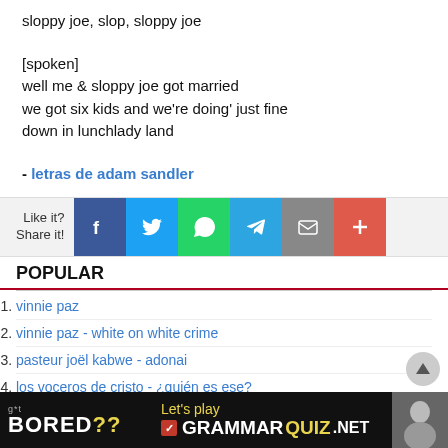sloppy joe, slop, sloppy joe
[spoken]
well me & sloppy joe got married
we got six kids and we're doing' just fine
down in lunchlady land
- letras de adam sandler
[Figure (infographic): Social share bar with Like it? Share it! label and buttons for Facebook, Twitter, WhatsApp, Telegram, Email, and a plus button]
POPULAR
1. vinnie paz
2. vinnie paz - white on white crime
3. pasteur joël kabwe - adonai
4. los voceros de cristo - ¿quién es ese?
[Figure (infographic): Advertisement banner: Got BORED?? Let's play GRAMMARQUIZ.NET with a person's photo]